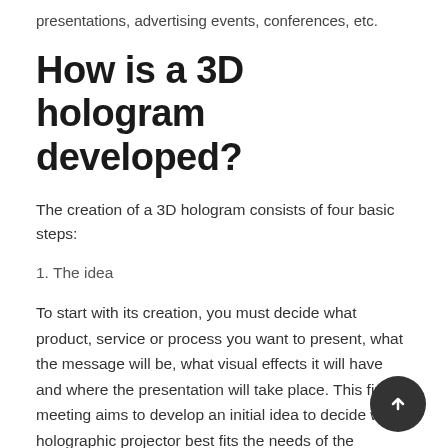presentations, advertising events, conferences, etc.
How is a 3D hologram developed?
The creation of a 3D hologram consists of four basic steps:
1. The idea
To start with its creation, you must decide what product, service or process you want to present, what the message will be, what visual effects it will have and where the presentation will take place. This first meeting aims to develop an initial idea to decide which holographic projector best fits the needs of the company and whether it is compatible with the sp... which it will be used.